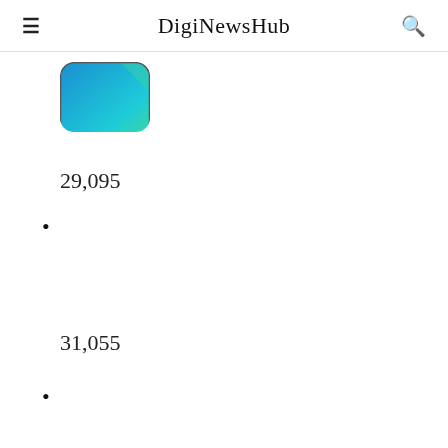DigiNewsHub
[Figure (illustration): Partial view of a smartphone with blue-green gradient screen, showing only the top portion of the device]
29,095
31,055